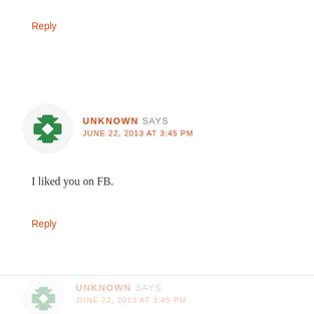Reply
[Figure (illustration): Green decorative cross/flower avatar icon for user Unknown]
UNKNOWN SAYS
JUNE 22, 2013 AT 3:45 PM
I liked you on FB.
Reply
[Figure (illustration): Faded green decorative cross/flower avatar icon for user Unknown (partially visible at bottom)]
UNKNOWN SAYS
JUNE 22, 2013 AT 3:45 PM